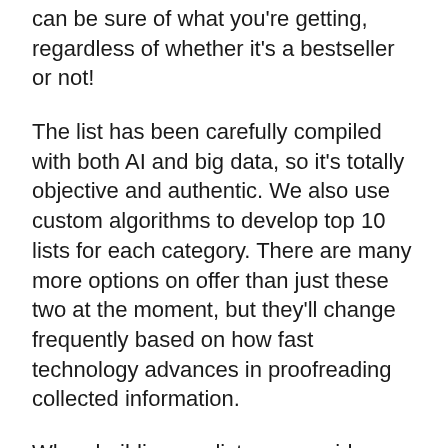can be sure of what you're getting, regardless of whether it's a bestseller or not!
The list has been carefully compiled with both AI and big data, so it's totally objective and authentic. We also use custom algorithms to develop top 10 lists for each category. There are many more options on offer than just these two at the moment, but they'll change frequently based on how fast technology advances in proofreading collected information.
When building our list, we consider a variety of factors, including, but not limited to:
We have proprietary data that identifies what content users want and need